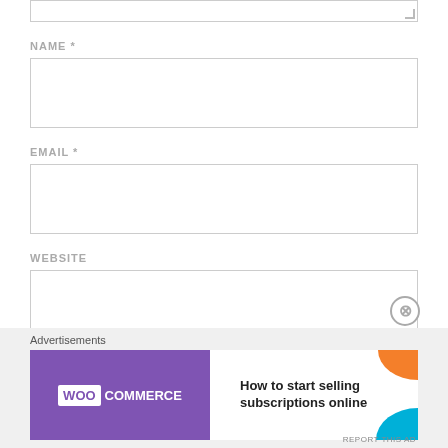[Figure (screenshot): Top portion of a web comment form showing the bottom of a textarea with resize handle]
NAME *
[Figure (screenshot): Text input field for NAME]
EMAIL *
[Figure (screenshot): Text input field for EMAIL]
WEBSITE
[Figure (screenshot): Text input field for WEBSITE]
Advertisements
[Figure (infographic): WooCommerce advertisement banner: How to start selling subscriptions online]